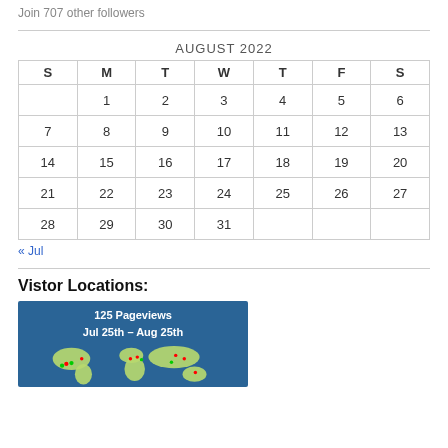Join 707 other followers
| S | M | T | W | T | F | S |
| --- | --- | --- | --- | --- | --- | --- |
|  | 1 | 2 | 3 | 4 | 5 | 6 |
| 7 | 8 | 9 | 10 | 11 | 12 | 13 |
| 14 | 15 | 16 | 17 | 18 | 19 | 20 |
| 21 | 22 | 23 | 24 | 25 | 26 | 27 |
| 28 | 29 | 30 | 31 |  |  |  |
« Jul
Vistor Locations:
[Figure (map): World map showing visitor locations with 125 Pageviews from Jul 25th - Aug 25th, with colored markers on various countries]